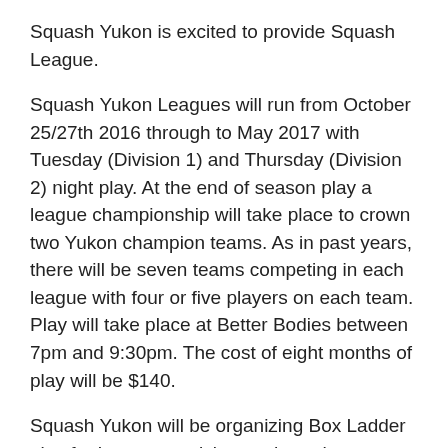Squash Yukon is excited to provide Squash League.
Squash Yukon Leagues will run from October 25/27th 2016 through to May 2017 with Tuesday (Division 1) and Thursday (Division 2) night play. At the end of season play a league championship will take place to crown two Yukon champion teams. As in past years, there will be seven teams competing in each league with four or five players on each team. Play will take place at Better Bodies between 7pm and 9:30pm. The cost of eight months of play will be $140.
Squash Yukon will be organizing Box Ladder play for League participants through September. This will help us to better place players on teams, and to help players get out on the courts for the beginning of the season.
Please email squashyukon.league@gmail.com before September 5th 2016 to sign up or to get more information.